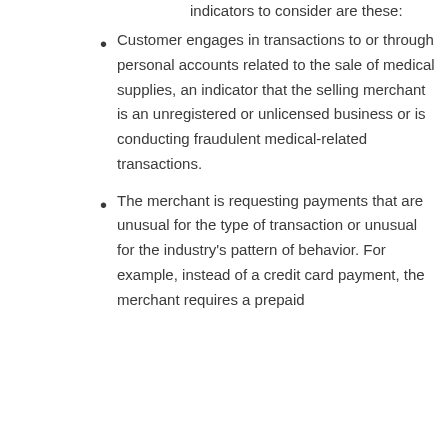indicators to consider are these:
Customer engages in transactions to or through personal accounts related to the sale of medical supplies, an indicator that the selling merchant is an unregistered or unlicensed business or is conducting fraudulent medical-related transactions.
The merchant is requesting payments that are unusual for the type of transaction or unusual for the industry's pattern of behavior. For example, instead of a credit card payment, the merchant requires a prepaid